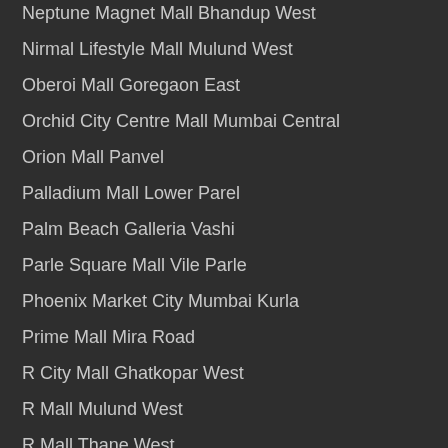Neptune Magnet Mall Bhandup West
Nirmal Lifestyle Mall Mulund West
Oberoi Mall Goregaon East
Orchid City Centre Mall Mumbai Central
Orion Mall Panvel
Palladium Mall Lower Parel
Palm Beach Galleria Vashi
Parle Square Mall Vile Parle
Phoenix Market City Mumbai Kurla
Prime Mall Mira Road
R City Mall Ghatkopar West
R Mall Mulund West
R Mall Thane West
R Odeon Mall Ghatkopar East
Raghuleela Mall Vashi